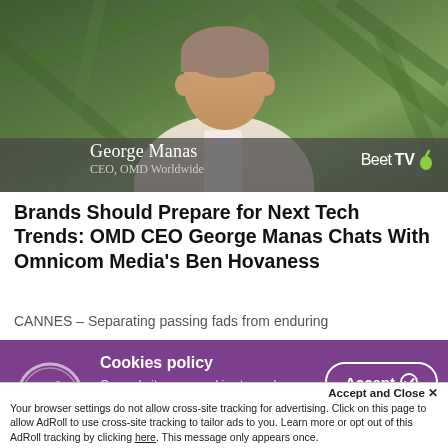[Figure (photo): Photo of George Manas, CEO of OMD Worldwide, with greenery/foliage background. Name banner overlaid with BeetTV logo.]
Brands Should Prepare for Next Tech Trends: OMD CEO George Manas Chats With Omnicom Media's Ben Hovaness
CANNES – Separating passing fads from enduring
Cookies policy
Our website uses cookies to analyse how the site is used and to ensure your experience is
Accept and Close ✕
Your browser settings do not allow cross-site tracking for advertising. Click on this page to allow AdRoll to use cross-site tracking to tailor ads to you. Learn more or opt out of this AdRoll tracking by clicking here. This message only appears once.